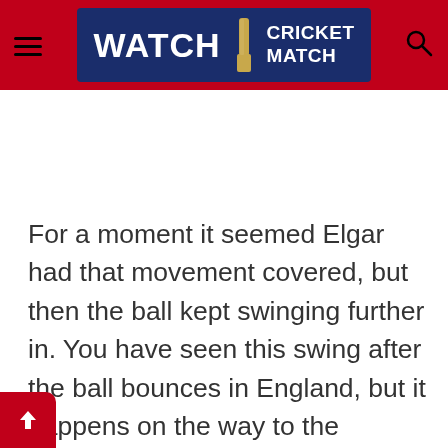WATCH CRICKET MATCH
For a moment it seemed Elgar had that movement covered, but then the ball kept swinging further in. You have seen this swing after the ball bounces in England, but it happens on the way to the wicketkeeper, not in the short flight from the pitch of the ball to striking the batter. Elgar tried to cover the movement, but ended up missing the ball, and was trapped lbw. Now the next plan for South Africa was going to be a Quinton de